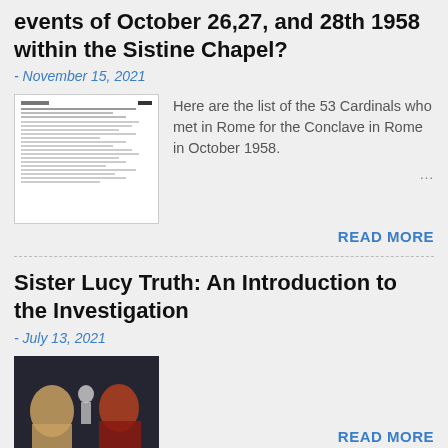events of October 26,27, and 28th 1958 within the Sistine Chapel?
- November 15, 2021
[Figure (photo): Thumbnail image of a document page with text lines and a header section]
Here are the list of the 53 Cardinals who met in Rome for the Conclave in Rome in October 1958.
READ MORE
Sister Lucy Truth: An Introduction to the Investigation
- July 13, 2021
[Figure (photo): Thumbnail image showing two people with a religious statue in the background]
READ MORE